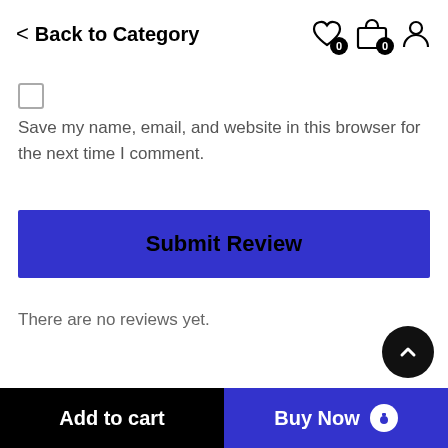< Back to Category
Save my name, email, and website in this browser for the next time I comment.
Submit Review
There are no reviews yet.
Add to cart | Buy Now